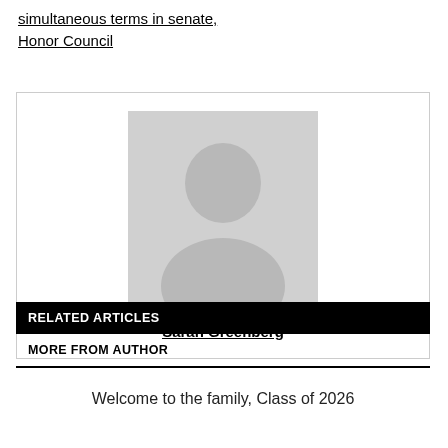simultaneous terms in senate, Honor Council
[Figure (illustration): Generic grey user/avatar placeholder silhouette image inside a bordered author card, with name 'Sarah Greenberg' below]
RELATED ARTICLES
MORE FROM AUTHOR
Welcome to the family, Class of 2026